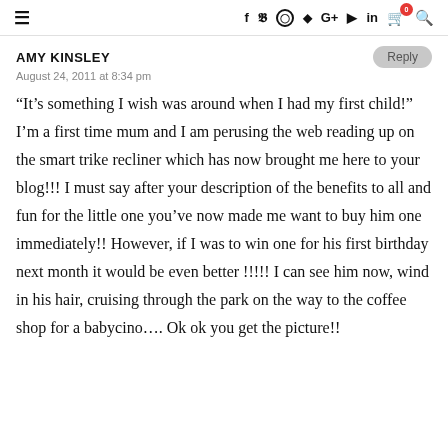≡  f  🐦  ◎  ⊕  G+  ▶  in  🛒⁰  🔍
AMY KINSLEY
August 24, 2011 at 8:34 pm
“It’s something I wish was around when I had my first child!” I’m a first time mum and I am perusing the web reading up on the smart trike recliner which has now brought me here to your blog!!! I must say after your description of the benefits to all and fun for the little one you’ve now made me want to buy him one immediately!! However, if I was to win one for his first birthday next month it would be even better !!!!! I can see him now, wind in his hair, cruising through the park on the way to the coffee shop for a babycino…. Ok ok you get the picture!!